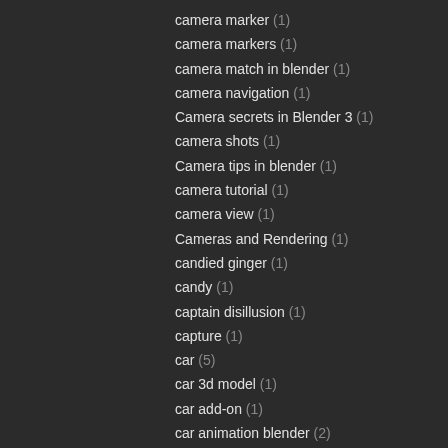camera marker (1)
camera markers (1)
camera match in blender (1)
camera navigation (1)
Camera secrets in Blender 3 (1)
camera shots (1)
Camera tips in blender (1)
camera tutorial (1)
camera view (1)
Cameras and Rendering (1)
candied ginger (1)
candy (1)
captain disillusion (1)
capture (1)
car (5)
car 3d model (1)
car add-on (1)
car animation blender (2)
car modeling blender (1)
car modeling tutorial (2)
car paint (1)
car tutorial (1)
card (2)